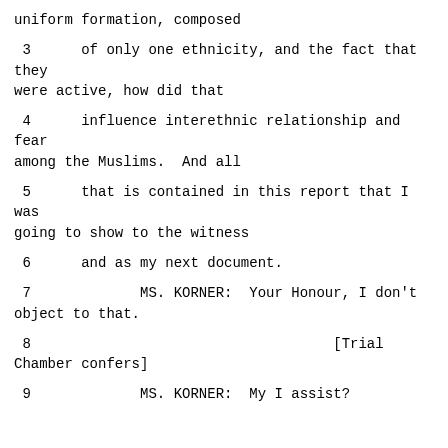uniform formation, composed
3      of only one ethnicity, and the fact that they were active, how did that
4      influence interethnic relationship and fear among the Muslims.  And all
5      that is contained in this report that I was going to show to the witness
6      and as my next document.
7             MS. KORNER:  Your Honour, I don't object to that.
8                                    [Trial Chamber confers]
9             MS. KORNER:  My I assist?